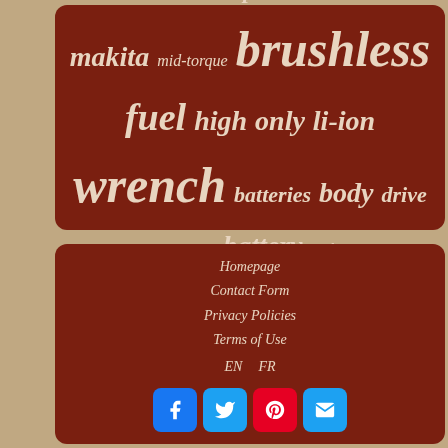[Figure (infographic): Tag cloud on dark red background with keywords: dewalt, compact, review, 12in, makita, mid-torque, brushless, fuel, high, only, li-ion, wrench, batteries, body, drive, 2767-20, battery, inch]
Homepage
Contact Form
Privacy Policies
Terms of Use
EN   FR